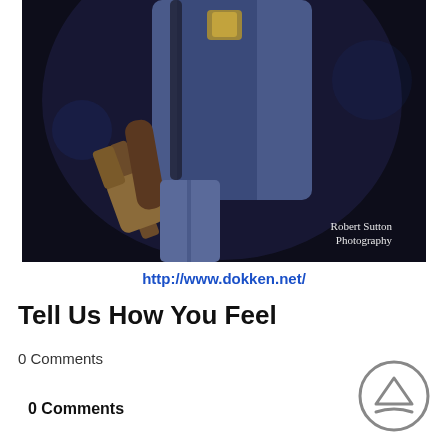[Figure (photo): Concert photo of a guitarist performing on stage, wearing a blue denim jacket with patches and playing guitar, dark background. Watermark reads 'Robert Sutton Photography' in bottom right.]
http://www.dokken.net/
Tell Us How You Feel
0 Comments
0 Comments